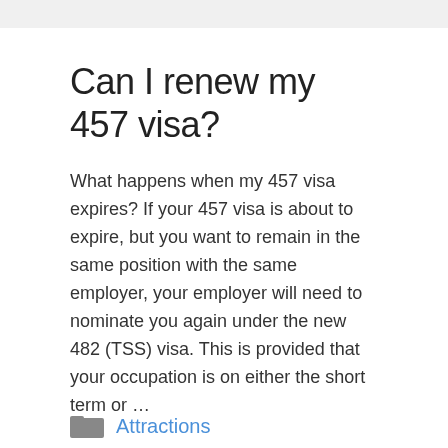Can I renew my 457 visa?
What happens when my 457 visa expires? If your 457 visa is about to expire, but you want to remain in the same position with the same employer, your employer will need to nominate you again under the new 482 (TSS) visa. This is provided that your occupation is on either the short term or …
Read more
Attractions